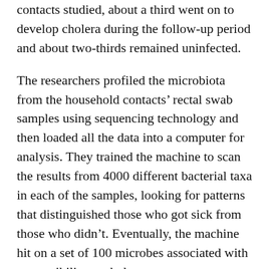contacts studied, about a third went on to develop cholera during the follow-up period and about two-thirds remained uninfected.
The researchers profiled the microbiota from the household contacts' rectal swab samples using sequencing technology and then loaded all the data into a computer for analysis. They trained the machine to scan the results from 4000 different bacterial taxa in each of the samples, looking for patterns that distinguished those who got sick from those who didn't. Eventually, the machine hit on a set of 100 microbes associated with susceptibility to cholera.
“Normally, you have to eyeball the data